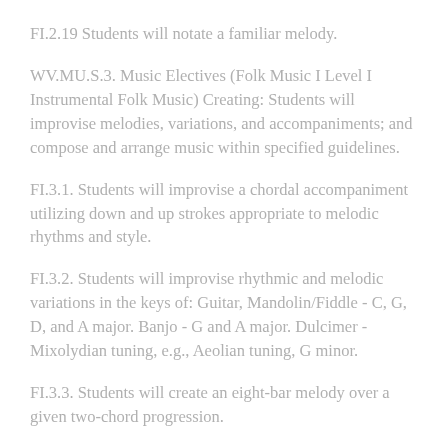FI.2.19 Students will notate a familiar melody.
WV.MU.S.3. Music Electives (Folk Music I Level I Instrumental Folk Music) Creating: Students will improvise melodies, variations, and accompaniments; and compose and arrange music within specified guidelines.
FI.3.1. Students will improvise a chordal accompaniment utilizing down and up strokes appropriate to melodic rhythms and style.
FI.3.2. Students will improvise rhythmic and melodic variations in the keys of: Guitar, Mandolin/Fiddle - C, G, D, and A major. Banjo - G and A major. Dulcimer - Mixolydian tuning, e.g., Aeolian tuning, G minor.
FI.3.3. Students will create an eight-bar melody over a given two-chord progression.